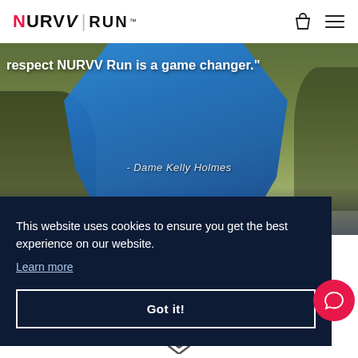NURVV | RUN
[Figure (photo): Person running outdoors wearing a blue hoodie, with trees in the background. Overlay text reads: respect NURVV Run is a game changer. - Dame Kelly Holmes]
respect NURVV Run is a game changer."
- Dame Kelly Holmes
This website uses cookies to ensure you get the best experience on our website.
Learn more
Got it!